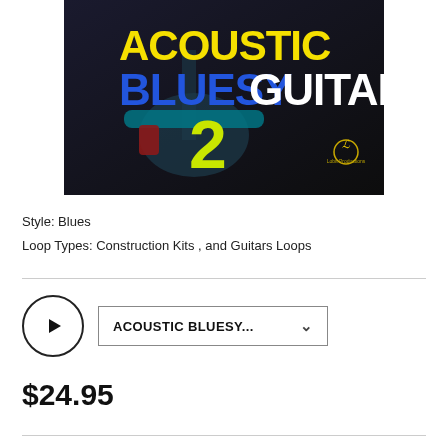[Figure (illustration): Album cover for 'Acoustic Bluesy Guitar 2' showing text overlaid on a dark background with a guitar. 'ACOUSTIC' in large yellow letters, 'BLUESY' in blue and 'GUITAR' in white letters, '2' in large yellow-green number, with a small logo in the bottom right.]
Style: Blues
Loop Types: Construction Kits , and Guitars Loops
[Figure (other): Audio player row with circular play button and a dropdown selector labeled 'ACOUSTIC BLUESY...' with a chevron arrow]
$24.95